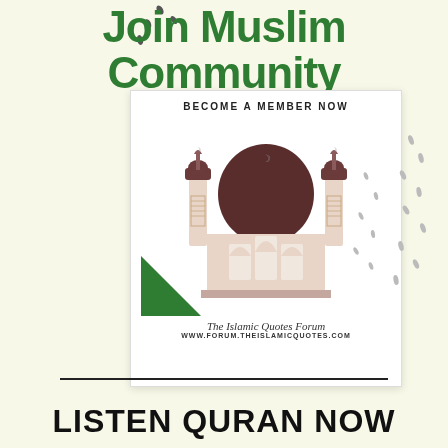Join Muslim Community
[Figure (illustration): Promotional poster with mosque illustration, 'BECOME A MEMBER NOW', The Islamic Quotes Forum, www.forum.theislamicquotes.com, green triangle corner decoration and decorative dot patterns]
LISTEN QURAN NOW